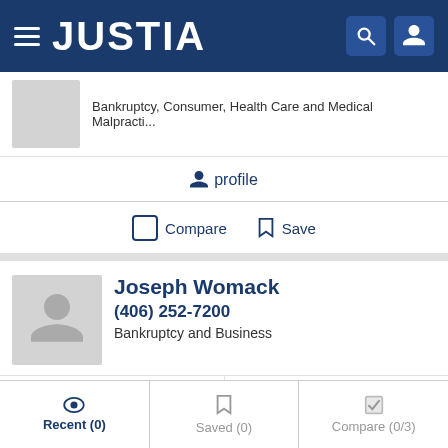JUSTIA
Bankruptcy, Consumer, Health Care and Medical Malpracti...
profile
Compare   Save
Joseph Womack
(406) 252-7200
Bankruptcy and Business
profile   email
Compare   Save
Recent (0)   Saved (0)   Compare (0/3)